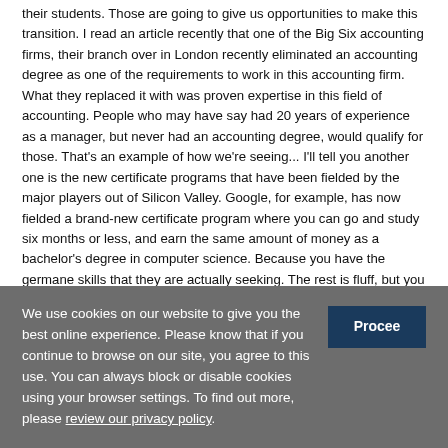their students. Those are going to give us opportunities to make this transition. I read an article recently that one of the Big Six accounting firms, their branch over in London recently eliminated an accounting degree as one of the requirements to work in this accounting firm. What they replaced it with was proven expertise in this field of accounting. People who may have say had 20 years of experience as a manager, but never had an accounting degree, would qualify for those. That's an example of how we're seeing... I'll tell you another one is the new certificate programs that have been fielded by the major players out of Silicon Valley. Google, for example, has now fielded a brand-new certificate program where you can go and study six months or less, and earn the same amount of money as a bachelor's degree in computer science. Because you have the germane skills that they are actually seeking. The rest is fluff, but you get fluff when your state funding pays for fluff.
We use cookies on our website to give you the best online experience. Please know that if you continue to browse on our site, you agree to this use. You can always block or disable cookies using your browser settings. To find out more, please review our privacy policy.